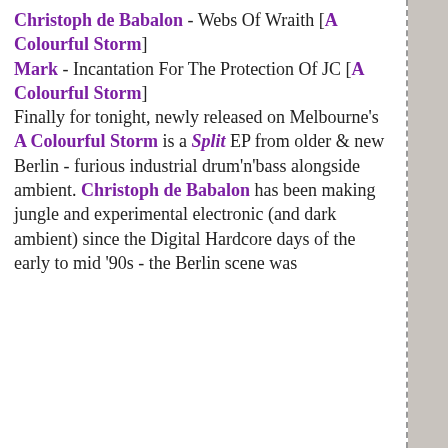Christoph de Babalon - Webs Of Wraith [A Colourful Storm] Mark - Incantation For The Protection Of JC [A Colourful Storm] Finally for tonight, newly released on Melbourne's A Colourful Storm is a Split EP from older & new Berlin - furious industrial drum'n'bass alongside ambient. Christoph de Babalon has been making jungle and experimental electronic (and dark ambient) since the Digital Hardcore days of the early to mid '90s - the Berlin scene was...